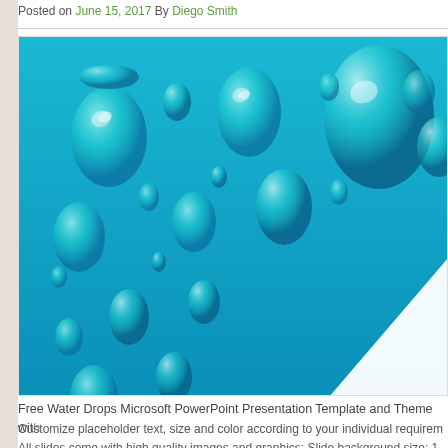Posted on June 15, 2017 By Diego Smith
[Figure (illustration): Free Water Drops Microsoft PowerPoint Presentation Template and Theme — blue background with multiple teal/cyan 3D water droplets of varying sizes scattered across the image, with a white diagonal shape in the lower right corner.]
Free Water Drops Microsoft PowerPoint Presentation Template and Theme with
Customize placeholder text, size and color according to your individual requirem... All slides come with high quality images and graphics; Slide background size: 1... Update placeholder text with your own headlines, text and descriptions